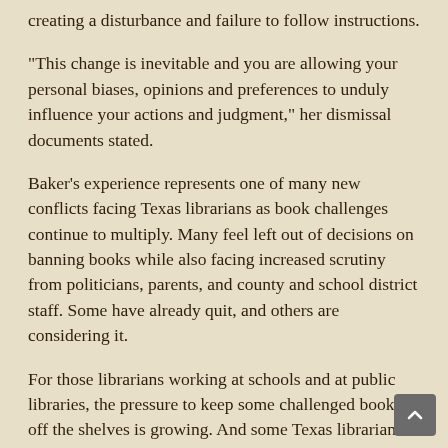creating a disturbance and failure to follow instructions.
“This change is inevitable and you are allowing your personal biases, opinions and preferences to unduly influence your actions and judgment,” her dismissal documents stated.
Baker’s experience represents one of many new conflicts facing Texas librarians as book challenges continue to multiply. Many feel left out of decisions on banning books while also facing increased scrutiny from politicians, parents, and county and school district staff. Some have already quit, and others are considering it.
For those librarians working at schools and at public libraries, the pressure to keep some challenged books off the shelves is growing. And some Texas librarians